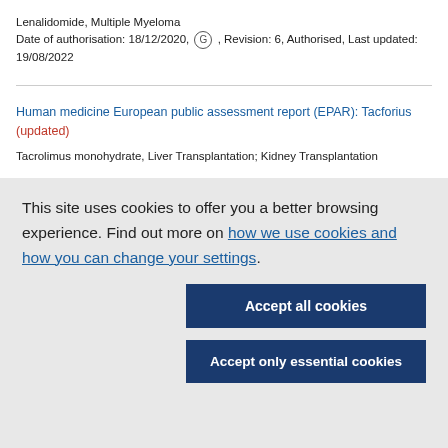Lenalidomide, Multiple Myeloma
Date of authorisation: 18/12/2020, (G) , Revision: 6, Authorised, Last updated: 19/08/2022
Human medicine European public assessment report (EPAR): Tacforius (updated)
Tacrolimus monohydrate, Liver Transplantation; Kidney Transplantation
This site uses cookies to offer you a better browsing experience. Find out more on how we use cookies and how you can change your settings.
Accept all cookies
Accept only essential cookies